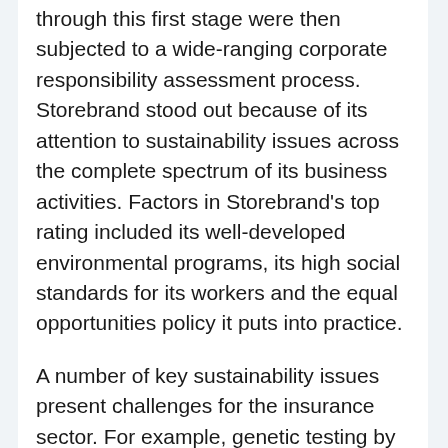Overall. The 28 insurance companies that got through this first stage were then subjected to a wide-ranging corporate responsibility assessment process. Storebrand stood out because of its attention to sustainability issues across the complete spectrum of its business activities. Factors in Storebrand's top rating included its well-developed environmental programs, its high social standards for its workers and the equal opportunities policy it puts into practice.
A number of key sustainability issues present challenges for the insurance sector. For example, genetic testing by insurance companies has repeatedly given rise to public concern on ethical grounds. Johannes Nikolopoulos, an oekom research analyst, said, "The sector has reacted to this challenge and in nearly all countries insurers have voluntarily agreed not to use genetic testing for standard life assurance policies. This has defused the debate around genetic testing and